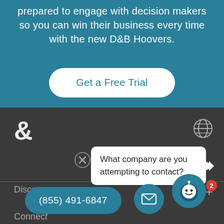prepared to engage with decision makers so you can win their business every time with the new D&B Hoovers.
Get a Free Trial
[Figure (screenshot): D&B Hoovers app interface screenshot showing ampersand logo, globe icon, chat bubble asking 'What company are you attempting to contact?', Discover section, phone number (855) 491-6847, email button, and chat bot button with badge count of 2]
What company are you attempting to contact?
Discover
(855) 491-6847
Connec...